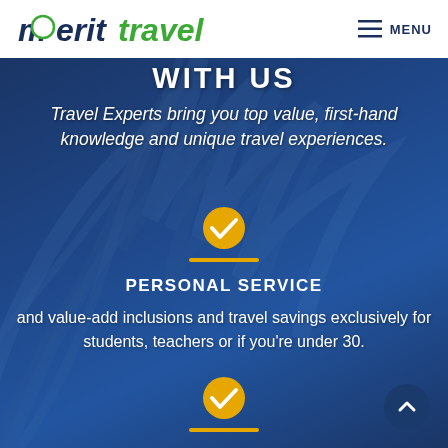merit travel  MENU
WITH US
Travel Experts bring you top value, first-hand knowledge and unique travel experiences.
[Figure (illustration): Yellow circle checkmark icon]
[Figure (illustration): Gold horizontal bar divider]
PERSONAL SERVICE
and value-add inclusions and travel savings exclusively for students, teachers or if you're under 30.
[Figure (illustration): Yellow circle checkmark icon]
[Figure (illustration): Gold horizontal bar divider]